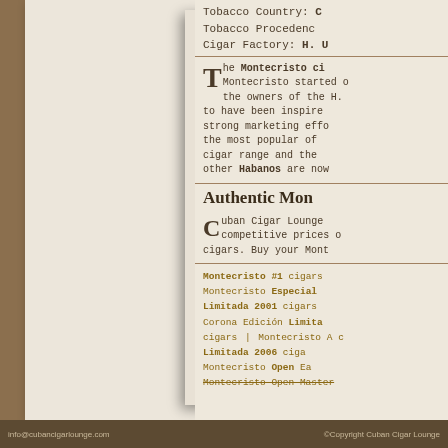Tobacco Country: C...
Tobacco Procedence...
Cigar Factory: H. U...
The Montecristo ci... Montecristo started ... the owners of the H. ... to have been inspire... strong marketing effo... the most popular of ... cigar range and the ... other Habanos are now...
Authentic Mon...
Cuban Cigar Lounge... competitive prices o... cigars. Buy your Mont...
Montecristo #1 cigars...
Montecristo Especial ...
Limitada 2001 cigars...
Corona Edición Limita...
cigars | Montecristo A c...
Limitada 2006 ciga...
Montecristo Open Ea...
Montecristo Open Master... (strikethrough)
info@cubancigarlounge.com | ©Copyright Cuban Cigar Lounge...